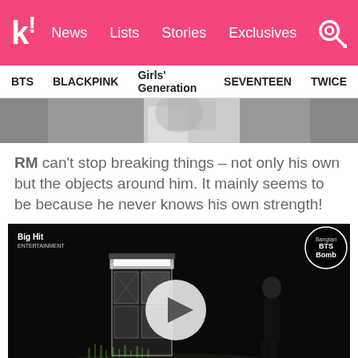k! News  Lists  Stories  Exclusives
BTS  BLACKPINK  Girls' Generation  SEVENTEEN  TWICE
[Figure (photo): Partial image at top of page showing a person in a white shirt from the torso down against a light background]
RM can't stop breaking things – not only his own but the objects around him. It mainly seems to be because he never knows his own strength!
[Figure (screenshot): Video thumbnail showing a glass phone booth in a dark scene with plants, a Big Hit watermark top-left, BTS Bomb badge top-right, and a play button in the center]